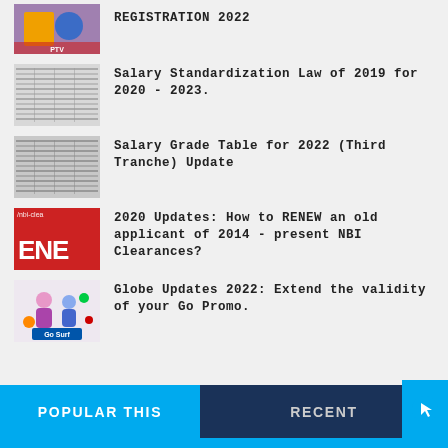REGISTRATION 2022
Salary Standardization Law of 2019 for 2020 - 2023.
Salary Grade Table for 2022 (Third Tranche) Update
2020 Updates: How to RENEW an old applicant of 2014 - present NBI Clearances?
Globe Updates 2022: Extend the validity of your Go Promo.
POPULAR THIS
RECENT